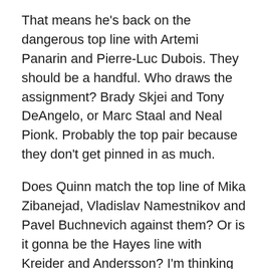That means he's back on the dangerous top line with Artemi Panarin and Pierre-Luc Dubois. They should be a handful. Who draws the assignment? Brady Skjei and Tony DeAngelo, or Marc Staal and Neal Pionk. Probably the top pair because they don't get pinned in as much.
Does Quinn match the top line of Mika Zibanejad, Vladislav Namestnikov and Pavel Buchnevich against them? Or is it gonna be the Hayes line with Kreider and Andersson? I'm thinking they put Andersson with those two because he battles hard and is better defensively than Spooner. Hayes has been on a good roll lately. So has Kreider. We'll see.
Brett Howden sticks with Jimmy Vesey and Jesper Fast. It would be nice to see Fast score a goal. He's been stuck on one since getting his only tally on Opening Night. The